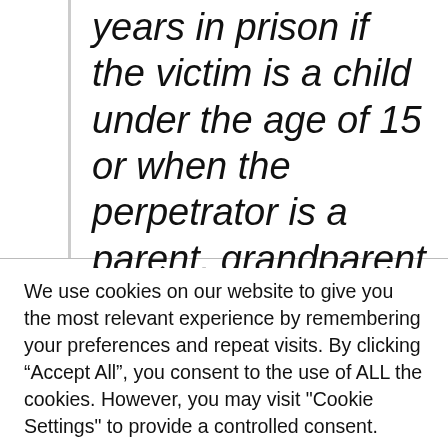years in prison if the victim is a child under the age of 15 or when the perpetrator is a parent, grandparent or other person authorizing the victim. In other cases it is punishable by up to 15 years.
We use cookies on our website to give you the most relevant experience by remembering your preferences and repeat visits. By clicking “Accept All”, you consent to the use of ALL the cookies. However, you may visit "Cookie Settings" to provide a controlled consent.